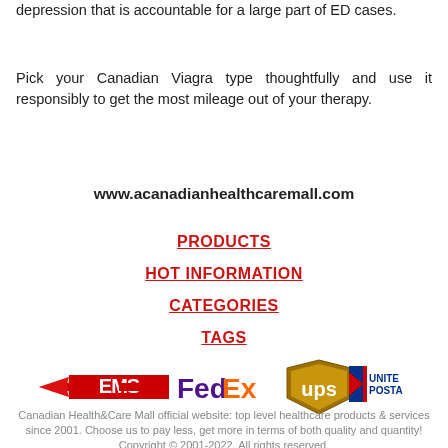depression that is accountable for a large part of ED cases.
Pick your Canadian Viagra type thoughtfully and use it responsibly to get the most mileage out of your therapy.
www.acanadianhealthcaremall.com
PRODUCTS
HOT INFORMATION
CATEGORIES
TAGS
[Figure (logo): Shipping carrier logos: EMS, FedEx, UPS, United States Postal Service]
Canadian Health&Care Mall official website: top level healthcare products & services since 2001. Choose us to pay less, get more in terms of both quality and quantity! Copyright © 2001-2022. All rights reserved.